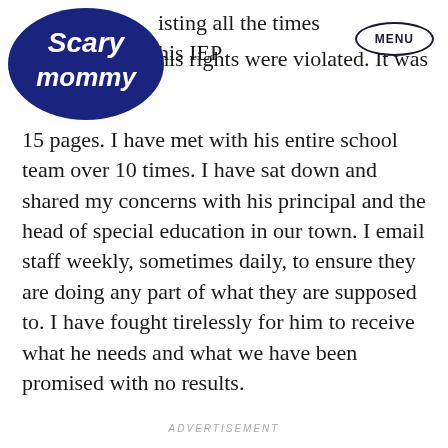Scary Mommy [logo] | MENU
isting all the times his IEP his rights were violated. It was 15 pages. I have met with his entire school team over 10 times. I have sat down and shared my concerns with his principal and the head of special education in our town. I email staff weekly, sometimes daily, to ensure they are doing any part of what they are supposed to. I have fought tirelessly for him to receive what he needs and what we have been promised with no results.
ADVERTISEMENT